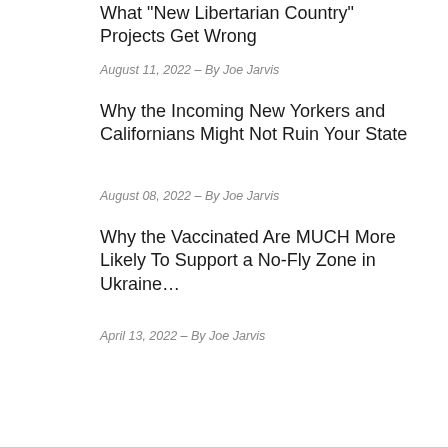What "New Libertarian Country" Projects Get Wrong
August 11, 2022 – By Joe Jarvis
Why the Incoming New Yorkers and Californians Might Not Ruin Your State
August 08, 2022 – By Joe Jarvis
Why the Vaccinated Are MUCH More Likely To Support a No-Fly Zone in Ukraine…
April 13, 2022 – By Joe Jarvis